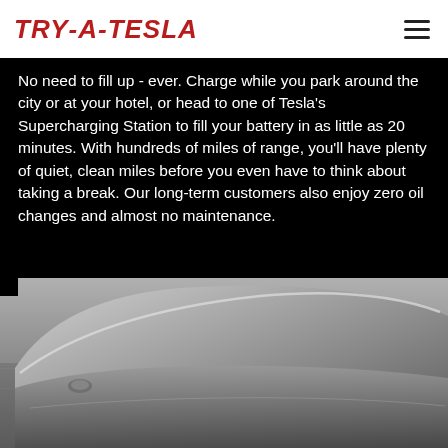TRY-A-TESLA
No need to fill up - ever. Charge while you park around the city or at your hotel, or head to one of Tesla's Supercharging Station to fill your battery in as little as 20 minutes. With hundreds of miles of range, you'll have plenty of quiet, clean miles before you even have to think about taking a break. Our long-term customers also enjoy zero oil changes and almost no maintenance.
[Figure (photo): Black and white photo of a Tesla car roofline and side panel from a low angle, with a blurred road surface in the background.]